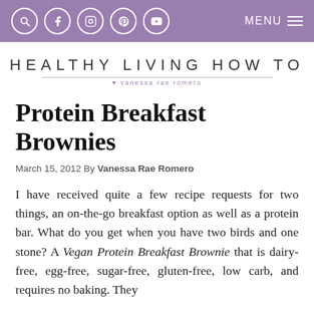MENU [social icons: search, facebook, instagram, pinterest, youtube]
[Figure (logo): Healthy Living How To logo with text 'HEALTHY LIVING HOW TO' and subtitle 'vanessa rae romero' with a heart symbol]
Protein Breakfast Brownies
March 15, 2012 By Vanessa Rae Romero
I have received quite a few recipe requests for two things, an on-the-go breakfast option as well as a protein bar. What do you get when you have two birds and one stone? A Vegan Protein Breakfast Brownie that is dairy-free, egg-free, sugar-free, gluten-free, low carb, and requires no baking. They